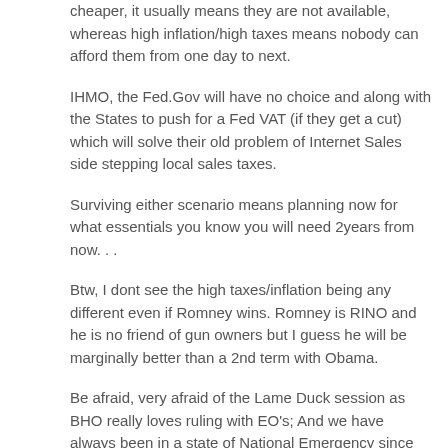cheaper, it usually means they are not available, whereas high inflation/high taxes means nobody can afford them from one day to next.
IHMO, the Fed.Gov will have no choice and along with the States to push for a Fed VAT (if they get a cut) which will solve their old problem of Internet Sales side stepping local sales taxes.
Surviving either scenario means planning now for what essentials you know you will need 2years from now. . .
Btw, I dont see the high taxes/inflation being any different even if Romney wins. Romney is RINO and he is no friend of gun owners but I guess he will be marginally better than a 2nd term with Obama.
Be afraid, very afraid of the Lame Duck session as BHO really loves ruling with EO's; And we have always been in a state of National Emergency since WWII as it was never rescinded, as I recall. . .
0.02